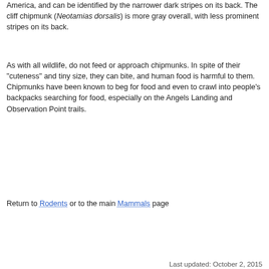America, and can be identified by the narrower dark stripes on its back. The cliff chipmunk (Neotamias dorsalis) is more gray overall, with less prominent stripes on its back.
As with all wildlife, do not feed or approach chipmunks. In spite of their "cuteness" and tiny size, they can bite, and human food is harmful to them. Chipmunks have been known to beg for food and even to crawl into people's backpacks searching for food, especially on the Angels Landing and Observation Point trails.
Return to Rodents or to the main Mammals page
Last updated: October 2, 2015